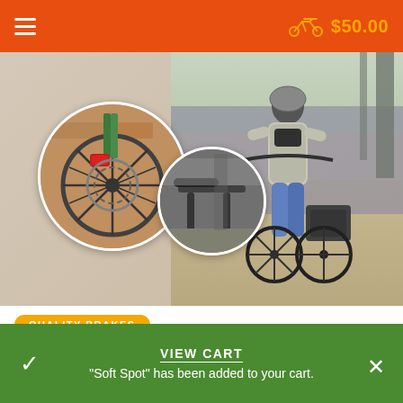≡   [bike icon]  $50.00
[Figure (photo): Two circular close-up photos of a cargo bike's disc brake/wheel on the left, and bike frame detail on the right, overlaid on a larger background photo of a person riding a cargo e-bike on a cobblestone path outdoors.]
QUALITY BRAKES
Top Priority: Safety
The Mundo's hydraulic disc brakes and thru axle ensure a stable and secure braking system optimised to respond to the unique needs of this cargo hauler. Take advantage
VIEW CART
"Soft Spot" has been added to your cart.